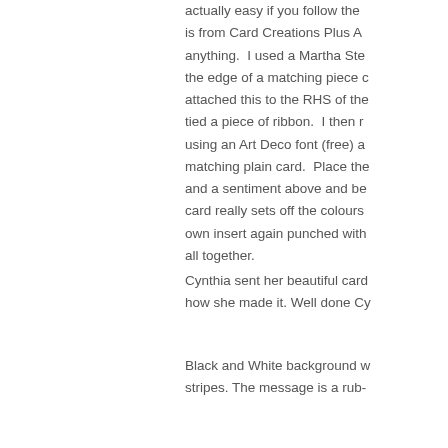actually easy if you follow the is from Card Creations Plus A anything.  I used a Martha Ste the edge of a matching piece c attached this to the RHS of the tied a piece of ribbon.  I then r using an Art Deco font (free) a matching plain card.  Place the and a sentiment above and be card really sets off the colours own insert again punched with all together.
Cynthia sent her beautiful card how she made it. Well done Cy
Black and White background w stripes. The message is a rub-